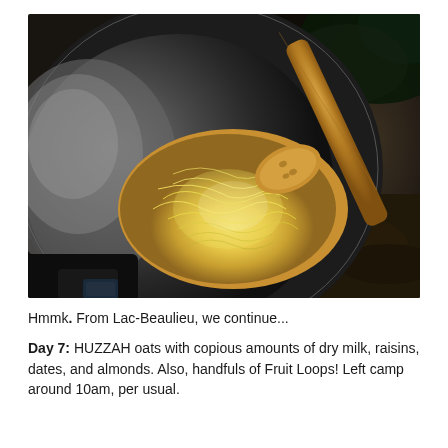[Figure (photo): A black cooking pan with noodles/pasta being stirred with a wooden spoon, sitting on a camp stove outdoors with forest ground visible in the background.]
Hmmk. From Lac-Beaulieu, we continue...
Day 7: HUZZAH oats with copious amounts of dry milk, raisins, dates, and almonds. Also, handfuls of Fruit Loops! Left camp around 10am, per usual.